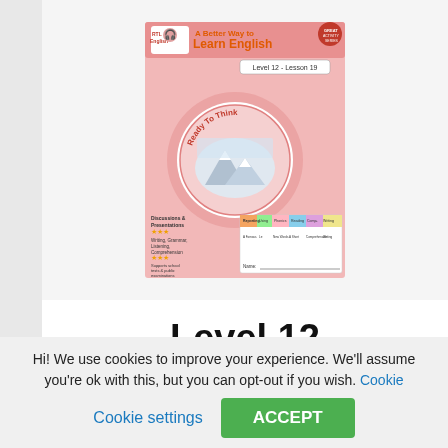[Figure (illustration): Cover of 'A Better Way to Learn English' book, Level 12 - Lesson 19, featuring 'Ready To Think' circular logo with a winter landscape illustration, pink and white design, with text about Discussions & Presentations, Writing, Grammar, Listening, Comprehension, supports school tests, prepares for Cambridge & many tests. Contains a lesson grid at the bottom.]
Level 12
Teens: 14-15 years old
Hi! We use cookies to improve your experience. We'll assume you're ok with this, but you can opt-out if you wish. Cookie settings ACCEPT